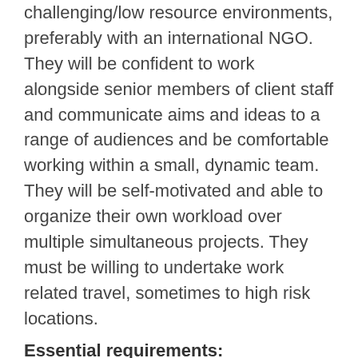challenging/low resource environments, preferably with an international NGO. They will be confident to work alongside senior members of client staff and communicate aims and ideas to a range of audiences and be comfortable working within a small, dynamic team. They will be self-motivated and able to organize their own workload over multiple simultaneous projects. They must be willing to undertake work related travel, sometimes to high risk locations.
Essential requirements:
A minimum of three years of experience of working in insecure environments, as a security risk advisor or operations manager at either national or regional levels, ideally with an international NGO